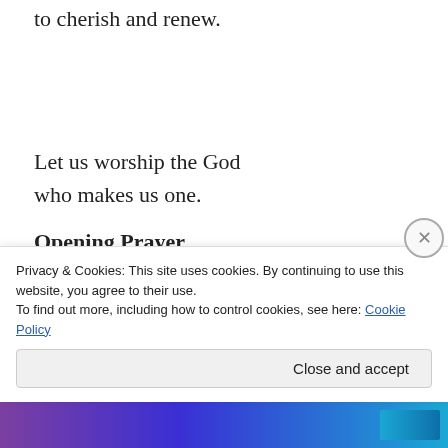to cherish and renew.
Let us worship the God
who makes us one.
Opening Prayer
This is the day that you have made, life-giving God.
Joining with angels and archangels,
Privacy & Cookies: This site uses cookies. By continuing to use this website, you agree to their use.
To find out more, including how to control cookies, see here: Cookie Policy
Close and accept